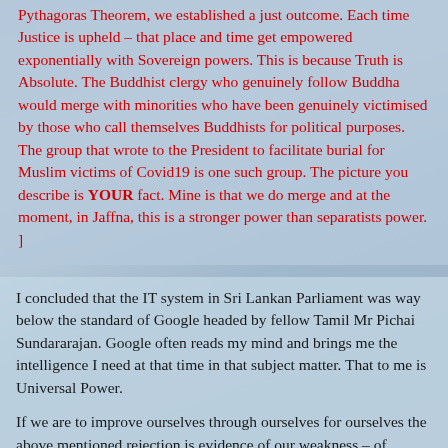Pythagoras Theorem, we established a just outcome. Each time Justice is upheld – that place and time get empowered exponentially with Sovereign powers. This is because Truth is Absolute. The Buddhist clergy who genuinely follow Buddha would merge with minorities who have been genuinely victimised by those who call themselves Buddhists for political purposes. The group that wrote to the President to facilitate burial for Muslim victims of Covid19 is one such group. The picture you describe is YOUR fact. Mine is that we do merge and at the moment, in Jaffna, this is a stronger power than separatists power. ]
I concluded that the IT system in Sri Lankan Parliament was way below the standard of Google headed by fellow Tamil Mr Pichai Sundararajan. Google often reads my mind and brings me the intelligence I need at that time in that subject matter. That to me is Universal Power.
If we are to improve ourselves through ourselves for ourselves the above mentioned rejection is evidence of our weakness – of surface reading  and blocking the very substance that the government needs.